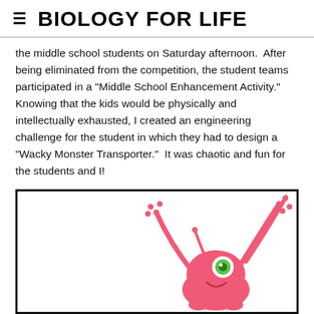BIOLOGY FOR LIFE
the middle school students on Saturday afternoon.  After being eliminated from the competition, the student teams participated in a "Middle School Enhancement Activity." Knowing that the kids would be physically and intellectually exhausted, I created an engineering challenge for the student in which they had to design a "Wacky Monster Transporter."  It was chaotic and fun for the students and I!
[Figure (illustration): A cartoon pink monster character with long spindly arms raised up, one large green eye, and a smiling expression, shown inside a black-bordered box.]